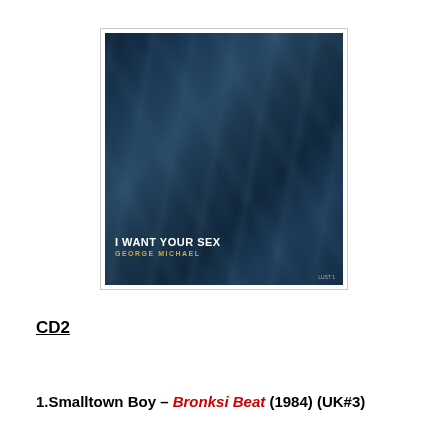[Figure (photo): Album cover art for 'I Want Your Sex' by George Michael. Dark blue/navy wrinkled fabric background with white text reading 'I WANT YOUR SEX' and gold text 'GEORGE MICHAEL' below it. Catalog number visible in bottom right corner.]
CD2
1.Smalltown Boy – Bronksi Beat (1984) (UK#3)